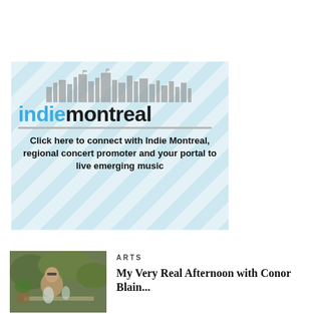[Figure (illustration): Indie Montreal advertisement banner with light blue diagonal striped background, skyline silhouette graphic, 'indiemontreal' logo in blue and black, horizontal divider line, and bold text: 'Click here to connect with Indie Montreal, regional concert promoter and your portal to live emerging music']
[Figure (photo): Outdoor photo of a person wearing sunglasses, with plants and greenery in the background]
ARTS
My Very Real Afternoon with Conor Blain...